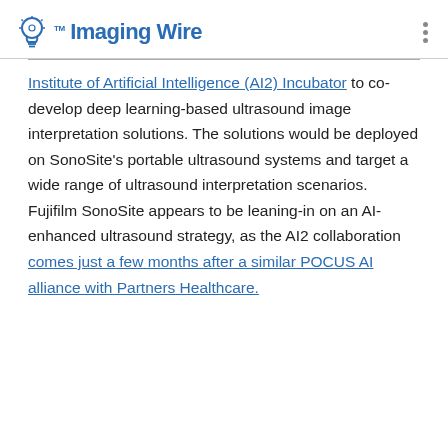The Imaging Wire
Institute of Artificial Intelligence (AI2) Incubator to co-develop deep learning-based ultrasound image interpretation solutions. The solutions would be deployed on SonoSite's portable ultrasound systems and target a wide range of ultrasound interpretation scenarios. Fujifilm SonoSite appears to be leaning-in on an AI-enhanced ultrasound strategy, as the AI2 collaboration comes just a few months after a similar POCUS AI alliance with Partners Healthcare.